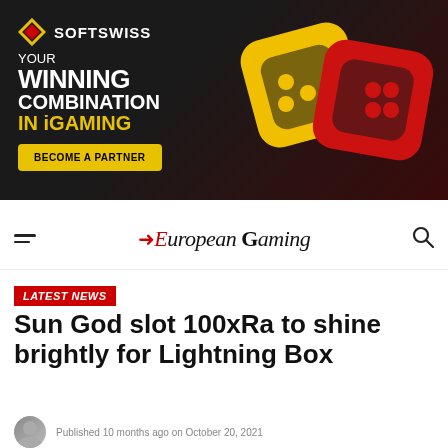[Figure (infographic): SOFTSWISS advertisement banner. Dark background with red gradient. Left side shows SOFTSWISS logo (diamond icon + wordmark), text 'YOUR WINNING COMBINATION IN iGAMING' with a gold 'BECOME A PARTNER' button. Right side shows 3D yellow and red interlocked chain-link shaped objects.]
European Gaming
LATEST NEWS
Sun God slot 100xRa to shine brightly for Lightning Box
Published 10 months ago on October 20, 2021